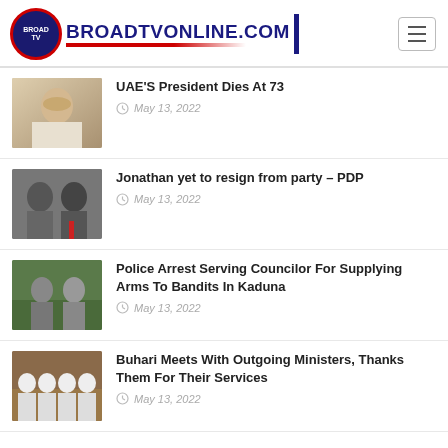BROADTVONLINE.COM
UAE'S President Dies At 73 — May 13, 2022
Jonathan yet to resign from party – PDP — May 13, 2022
Police Arrest Serving Councilor For Supplying Arms To Bandits In Kaduna — May 13, 2022
Buhari Meets With Outgoing Ministers, Thanks Them For Their Services — May 13, 2022